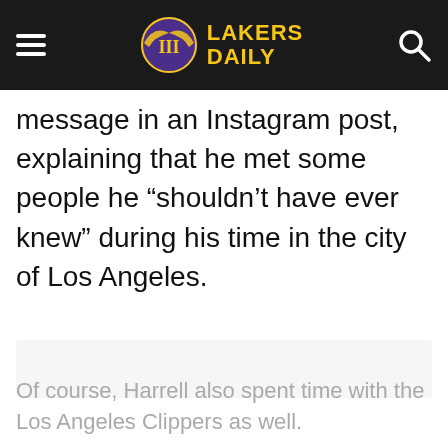Lakers Daily
message in an Instagram post, explaining that he met some people he “shouldn’t have ever knew” during his time in the city of Los Angeles.
[Figure (photo): Faded/partially visible image placeholder in the middle of the page]
Of course, Harrell also spent time with the Los Angeles Clippers as well.